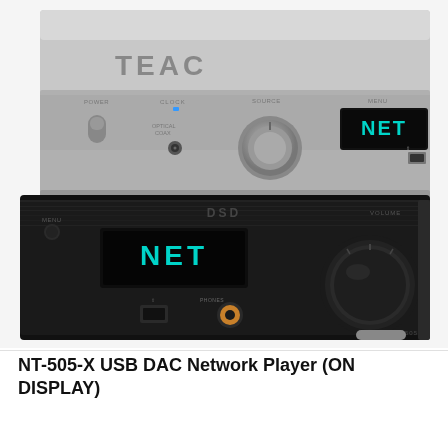[Figure (photo): Two TEAC NT-505-X USB DAC Network Player units stacked. The top unit is silver/aluminum colored, showing the front panel with TEAC branding, POWER button, CLOCK indicator with blue LED, OPTICAL/COAX input jack, SOURCE knob, MENU button, and a display showing 'NET' in teal/cyan text on dark background, plus a USB port on the right side. The bottom unit is black, showing a front panel with DSD label, MENU button, a display showing 'NET' in teal/cyan text, USB port, headphone jack, and a large volume knob on the right side.]
NT-505-X USB DAC Network Player (ON DISPLAY)